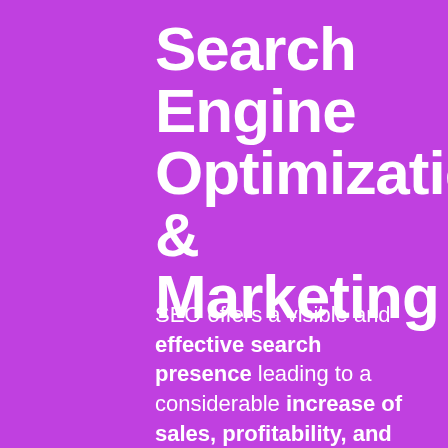Search Engine Optimization & Marketing
SEO offers a visible and effective search presence leading to a considerable increase of sales, profitability, and cost efficiency for our clients.